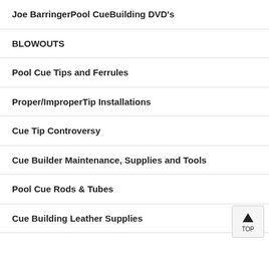Joe BarringerPool CueBuilding DVD's
BLOWOUTS
Pool Cue Tips and Ferrules
Proper/ImproperTip Installations
Cue Tip Controversy
Cue Builder Maintenance, Supplies and Tools
Pool Cue Rods & Tubes
Cue Building Leather Supplies